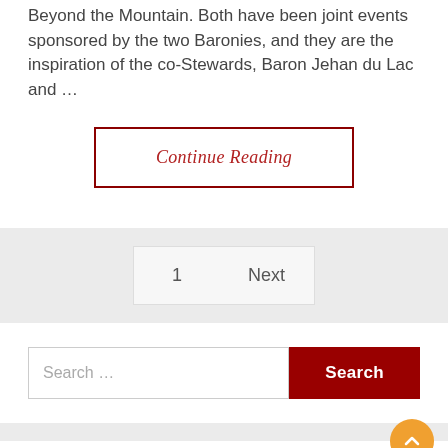Beyond the Mountain. Both have been joint events sponsored by the two Baronies, and they are the inspiration of the co-Stewards, Baron Jehan du Lac and …
Continue Reading
1  Next
Search ...
Search